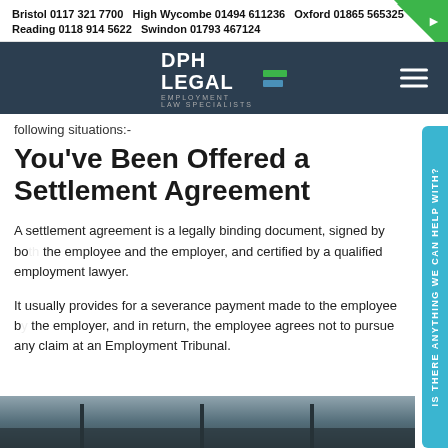Bristol 0117 321 7700   High Wycombe 01494 611236   Oxford 01865 565325   Reading 0118 914 5622   Swindon 01793 467124
following situations:-
You've Been Offered a Settlement Agreement
A settlement agreement is a legally binding document, signed by both the employee and the employer, and certified by a qualified employment lawyer.
It usually provides for a severance payment made to the employee by the employer, and in return, the employee agrees not to pursue any claim at an Employment Tribunal.
[Figure (photo): Bottom strip showing part of a building exterior with columns, dark tones]